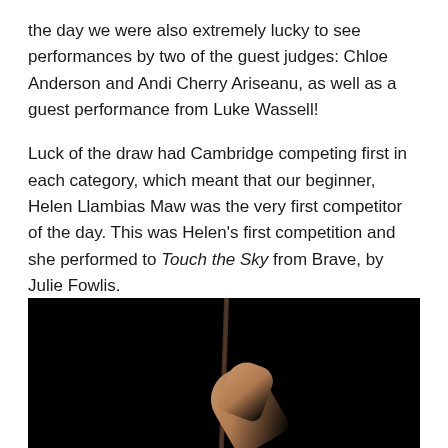the day we were also extremely lucky to see performances by two of the guest judges: Chloe Anderson and Andi Cherry Ariseanu, as well as a guest performance from Luke Wassell!
Luck of the draw had Cambridge competing first in each category, which meant that our beginner, Helen Llambias Maw was the very first competitor of the day. This was Helen's first competition and she performed to Touch the Sky from Brave, by Julie Fowlis.
[Figure (photo): Dark performance photo showing a person on a pole aerial apparatus, with an outstretched arm visible against a black background, lit from the front.]